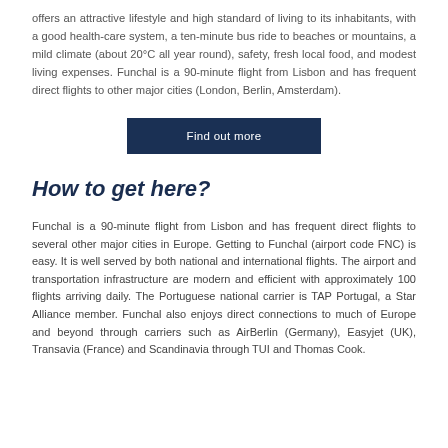offers an attractive lifestyle and high standard of living to its inhabitants, with a good health-care system, a ten-minute bus ride to beaches or mountains, a mild climate (about 20°C all year round), safety, fresh local food, and modest living expenses. Funchal is a 90-minute flight from Lisbon and has frequent direct flights to other major cities (London, Berlin, Amsterdam).
[Figure (other): Dark navy blue button with white text reading 'Find out more']
How to get here?
Funchal is a 90-minute flight from Lisbon and has frequent direct flights to several other major cities in Europe. Getting to Funchal (airport code FNC) is easy. It is well served by both national and international flights. The airport and transportation infrastructure are modern and efficient with approximately 100 flights arriving daily. The Portuguese national carrier is TAP Portugal, a Star Alliance member. Funchal also enjoys direct connections to much of Europe and beyond through carriers such as AirBerlin (Germany), Easyjet (UK), Transavia (France) and Scandinavia through TUI and Thomas Cook.